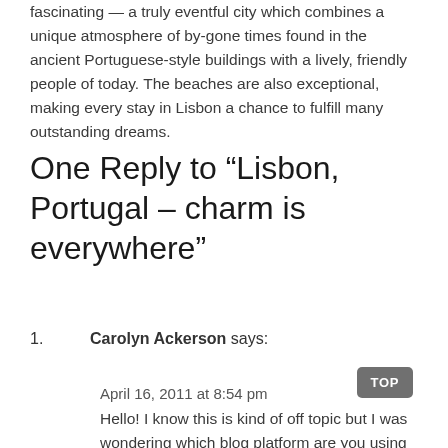fascinating — a truly eventful city which combines a unique atmosphere of by-gone times found in the ancient Portuguese-style buildings with a lively, friendly people of today. The beaches are also exceptional, making every stay in Lisbon a chance to fulfill many outstanding dreams.
One Reply to “Lisbon, Portugal – charm is everywhere”
1. Carolyn Ackerson says:
April 16, 2011 at 8:54 pm
Hello! I know this is kind of off topic but I was wondering which blog platform are you using for this site? I'm getting tired of WordPress because I've had issues with hackers and I'm looking at alternatives for another platform. I would be awesome if you could point me in the direction of a good